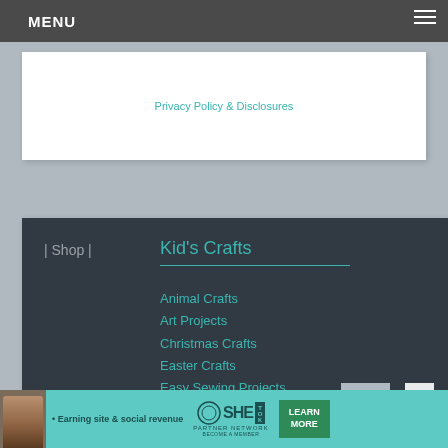MENU
Privacy Policy & Disclosures
| Shop |
Kid's Crafts
Animal Crafts
Art Projects
Christmas Crafts
Easter Crafts
Easy Sewing Projects
Educational Crafts
Halloween Crafts
Kid's Recipes
Paper Crafts
Party & Fun Crafts
Top
X
• Earning site & social revenue  SHE PARTNER NETWORK BECOME A MEMBER  LEARN MORE